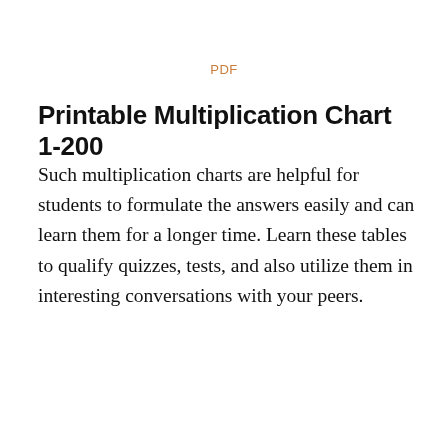PDF
Printable Multiplication Chart 1-200
Such multiplication charts are helpful for students to formulate the answers easily and can learn them for a longer time. Learn these tables to qualify quizzes, tests, and also utilize them in interesting conversations with your peers.